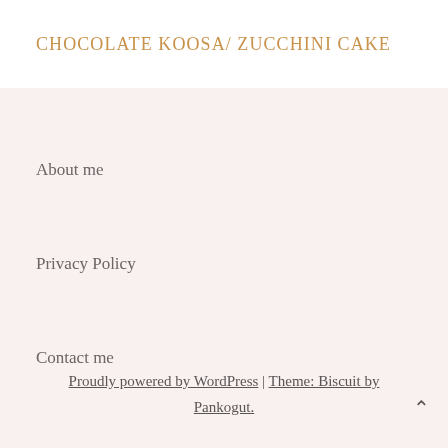CHOCOLATE KOOSA/ ZUCCHINI CAKE
About me
Privacy Policy
Contact me
Proudly powered by WordPress | Theme: Biscuit by Pankogut.